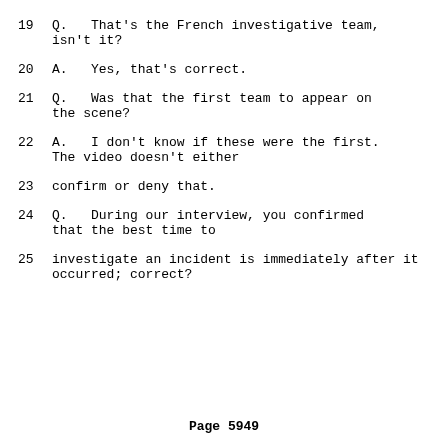19     Q.   That's the French investigative team, isn't it?
20     A.   Yes, that's correct.
21     Q.   Was that the first team to appear on the scene?
22     A.   I don't know if these were the first. The video doesn't either
23     confirm or deny that.
24     Q.   During our interview, you confirmed that the best time to
25     investigate an incident is immediately after it occurred; correct?
Page 5949